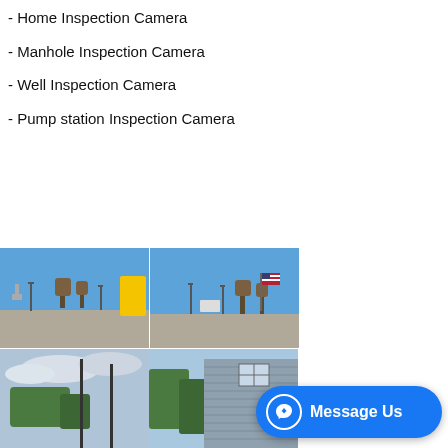- Home Inspection Camera
- Manhole Inspection Camera
- Well Inspection Camera
- Pump station Inspection Camera
[Figure (photo): Outdoor parking lot scene with blue sky, street lights, bare trees and a yellow signage visible]
[Figure (photo): Outdoor parking lot scene with blue sky, street lights, bare trees and a flag on a pole]
[Figure (photo): Outdoor scene with cloudy sky, green trees and tall poles]
[Figure (photo): Exterior of a house with siding and trees visible]
[Figure (photo): Aerial or tilted view of a roof with gutters and drainage]
[Figure (photo): Partially visible outdoor image, partially covered by Message Us button]